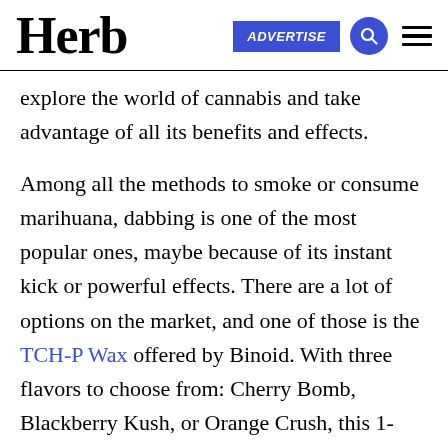Herb | ADVERTISE
explore the world of cannabis and take advantage of all its benefits and effects.
Among all the methods to smoke or consume marihuana, dabbing is one of the most popular ones, maybe because of its instant kick or powerful effects. There are a lot of options on the market, and one of those is the TCH-P Wax offered by Binoid. With three flavors to choose from: Cherry Bomb, Blackberry Kush, or Orange Crush, this 1-gram dab of premier distillate wax is perfect for those who love dabbing. It has an